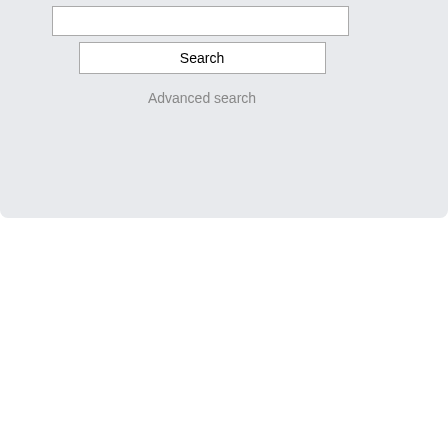Search
Advanced search
God got m...
SFISurvive
Member
Posts: 47
Re
« R
Got my 1... except a
God got m...
Pirata
Member
Posts: 67
Re
« R
Great to...
SFISurvive
Member
Posts: 47
Re
« R
Thanks...